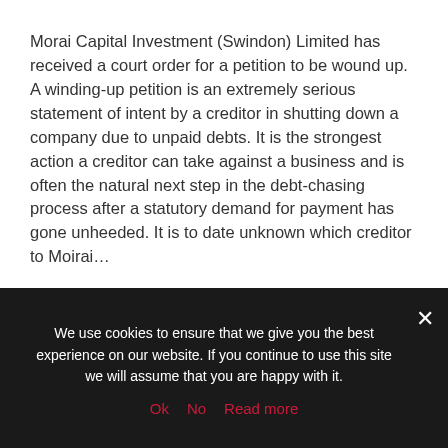Morai Capital Investment (Swindon) Limited has received a court order for a petition to be wound up. A winding-up petition is an extremely serious statement of intent by a creditor in shutting down a company due to unpaid debts. It is the strongest action a creditor can take against a business and is often the natural next step in the debt-chasing process after a statutory demand for payment has gone unheeded. It is to date unknown which creditor to Moirai…
Read More
We use cookies to ensure that we give you the best experience on our website. If you continue to use this site we will assume that you are happy with it.
Ok  No  Read more